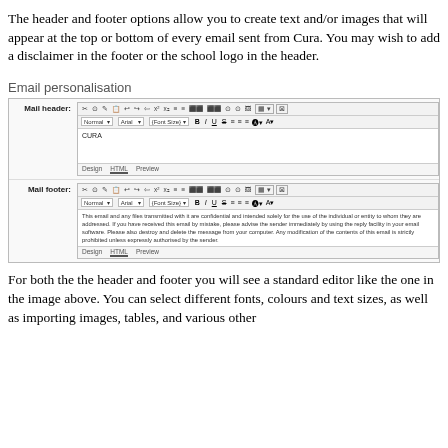The header and footer options allow you to create text and/or images that will appear at the top or bottom of every email sent from Cura. You may wish to add a disclaimer in the footer or the school logo in the header.
Email personalisation
[Figure (screenshot): Screenshot of an email editor interface showing Mail header and Mail footer fields. The Mail header contains 'CURA' text and the Mail footer contains a confidentiality disclaimer. Each field has a toolbar with formatting options and Design, HTML, Preview tabs.]
For both the the header and footer you will see a standard editor like the one in the image above. You can select different fonts, colours and text sizes, as well as importing images, tables, and various other